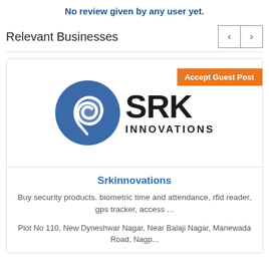No review given by any user yet.
Relevant Businesses
[Figure (logo): SRK Innovations logo: blue circular emblem with stylized R, bold SRK text, INNOVATIONS below, with orange Accept Guest Post badge top-right]
Srkinnovations
Buy security products. biometric time and attendance, rfid reader, gps tracker, access ...
Plot No 110, New Dyneshwar Nagar, Near Balaji Nagar, Manewada Road, Nagp...